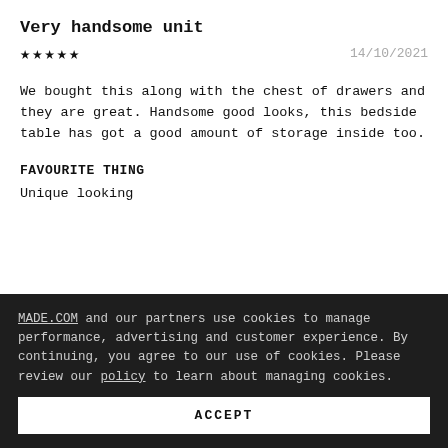Very handsome unit
★★★★★   14/10/2021
We bought this along with the chest of drawers and they are great. Handsome good looks, this bedside table has got a good amount of storage inside too.
FAVOURITE THING
Unique looking
⊕  MADE Customer Service Team
MADE.COM and our partners use cookies to manage performance, advertising and customer experience. By continuing, you agree to our use of cookies. Please review our policy to learn about managing cookies.
ACCEPT